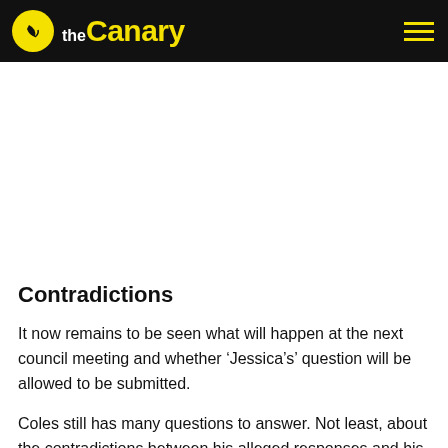the Canary
Contradictions
It now remains to be seen what will happen at the next council meeting and whether ‘Jessica’s’ question will be allowed to be submitted.
Coles still has many questions to answer. Not least, about the contradictions between his alleged responses and his...